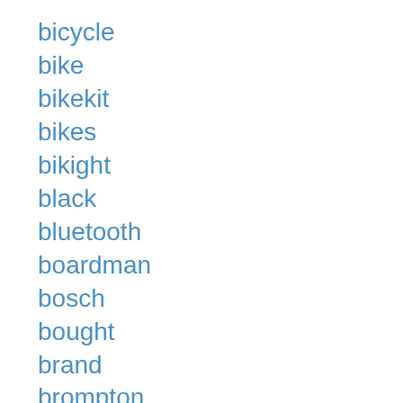bicycle
bike
bikekit
bikes
bikight
black
bluetooth
boardman
bosch
bought
brand
brompton
brushless
btrpower
build